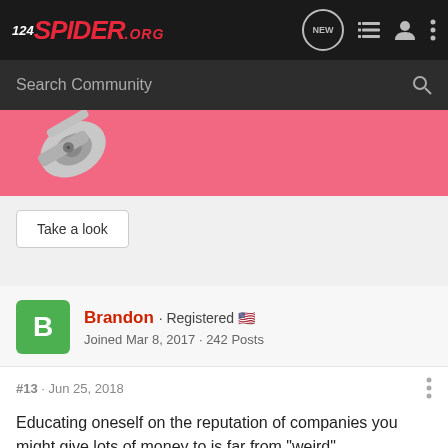124SPIDER.ORG
Search Community
[Figure (screenshot): Pink banner with mechanical parts image]
Take a look
Brandon · Registered
Joined Mar 8, 2017 · 242 Posts
#13 · Jun 25, 2018
Educating oneself on the reputation of companies you might give lots of money to is far from "weird".